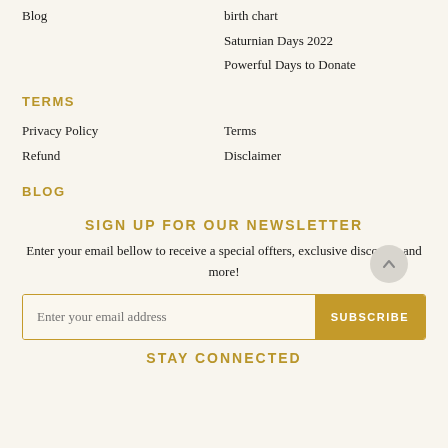Blog
birth chart
Saturnian Days 2022
Powerful Days to Donate
TERMS
Privacy Policy
Refund
Terms
Disclaimer
BLOG
SIGN UP FOR OUR NEWSLETTER
Enter your email bellow to receive a special offters, exclusive discounts and more!
STAY CONNECTED